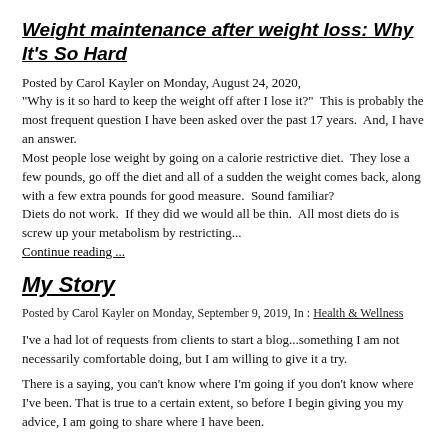Weight maintenance after weight loss: Why It's So Hard
Posted by Carol Kayler on Monday, August 24, 2020,
"Why is it so hard to keep the weight off after I lose it?"  This is probably the most frequent question I have been asked over the past 17 years.  And, I have an answer.
Most people lose weight by going on a calorie restrictive diet.  They lose a few pounds, go off the diet and all of a sudden the weight comes back, along with a few extra pounds for good measure.  Sound familiar?
Diets do not work.  If they did we would all be thin.  All most diets do is screw up your metabolism by restricting...
Continue reading ...
My Story
Posted by Carol Kayler on Monday, September 9, 2019, In : Health & Wellness
I've a had lot of requests from clients to start a blog...something I am not necessarily comfortable doing, but I am willing to give it a try.
There is a saying, you can't know where I'm going if you don't know where I've been. That is true to a certain extent, so before I begin giving you my advice, I am going to share where I have been.